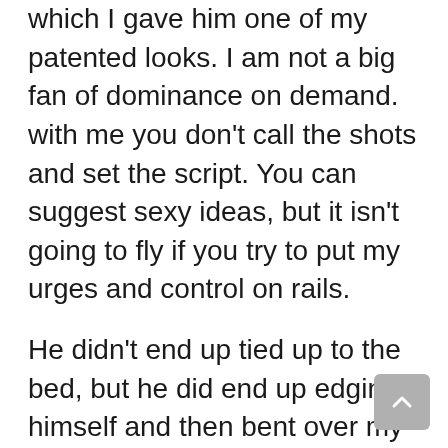which I gave him one of my patented looks. I am not a big fan of dominance on demand. with me you don't call the shots and set the script. You can suggest sexy ideas, but it isn't going to fly if you try to put my urges and control on rails.
He didn't end up tied up to the bed, but he did end up edging himself and then bent over my knee for a mean, hard spanking while everyone he'd been entertaining earlier continued to watch. Hand was soon switched up for a belt, probably my favourite of his to use, a big thick piece of supple brown leather.
I had him on all fours, facing the camera and reaching underneath himself to keep his